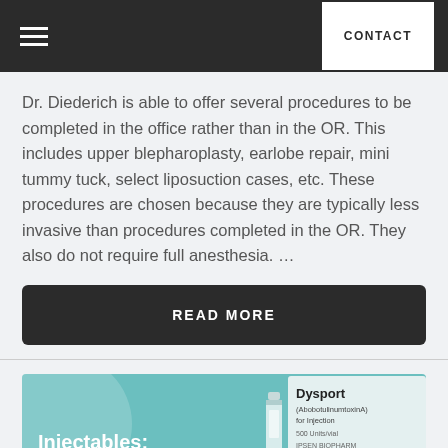CONTACT
Dr. Diederich is able to offer several procedures to be completed in the office rather than in the OR. This includes upper blepharoplasty, earlobe repair, mini tummy tuck, select liposuction cases, etc. These procedures are chosen because they are typically less invasive than procedures completed in the OR. They also do not require full anesthesia. …
READ MORE
[Figure (photo): Teal/green promotional card with bold white text reading 'Injectables:' and a Dysport product box and vial in the right portion of the image]